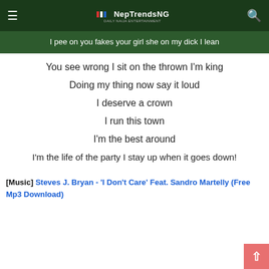NepTrendsNG
I pee on you fakes your girl she on my dick I lean
You see wrong I sit on the thrown I'm king
Doing my thing now say it loud
I deserve a crown
I run this town
I'm the best around
I'm the life of the party I stay up when it goes down!
[Music] Steves J. Bryan - 'I Don't Care' Feat. Sandro Martelly (Free Mp3 Download)